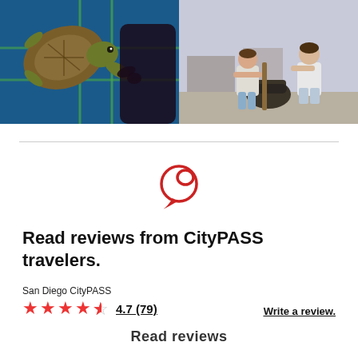[Figure (photo): Child touching aquarium glass facing a sea turtle swimming in blue water]
[Figure (photo): Two young boys playing on a ship cannon or maritime artifact at a sunny harbor]
[Figure (illustration): Red speech bubble / chat icon]
Read reviews from CityPASS travelers.
San Diego CityPASS
4.7 (79)
Write a review.
Read reviews